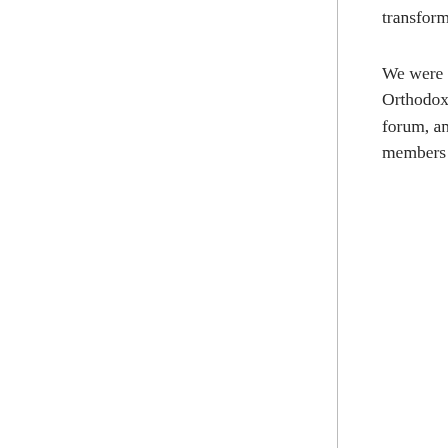transformative.
We were discussing this on the Orthodox-Lutheran Dialogue forum, and one of the Orthodox members said
Orthodox do not deny that there is a forensic aspect